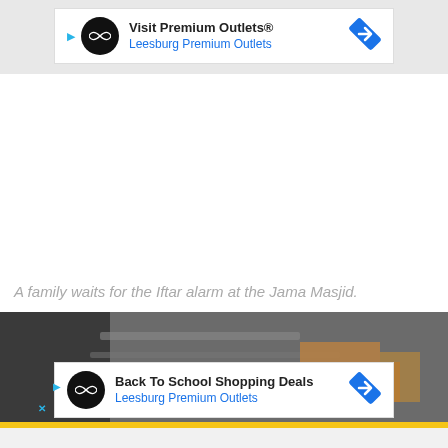[Figure (screenshot): Advertisement banner: Visit Premium Outlets® / Leesburg Premium Outlets with infinity logo and navigation arrow icon]
A family waits for the Iftar alarm at the Jama Masjid.
[Figure (photo): Photo of food being grilled or prepared, partially obscured by ad banner]
[Figure (screenshot): Advertisement banner: Back To School Shopping Deals / Leesburg Premium Outlets with infinity logo and navigation arrow icon]